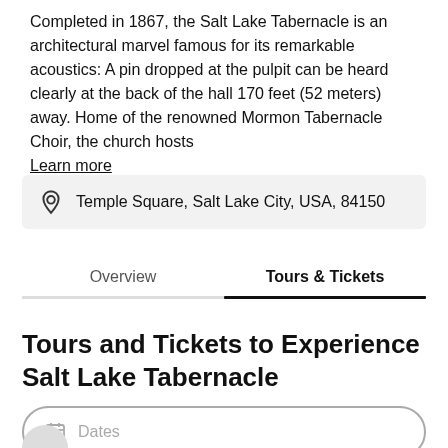Completed in 1867, the Salt Lake Tabernacle is an architectural marvel famous for its remarkable acoustics: A pin dropped at the pulpit can be heard clearly at the back of the hall 170 feet (52 meters) away. Home of the renowned Mormon Tabernacle Choir, the church hosts Learn more
Temple Square, Salt Lake City, USA, 84150
Overview	Tours & Tickets
Tours and Tickets to Experience Salt Lake Tabernacle
Dates